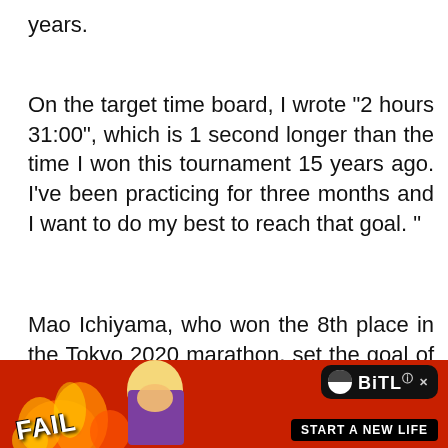years.
On the target time board, I wrote "2 hours 31:00", which is 1 second longer than the time I won this tournament 15 years ago. I've been practicing for three months and I want to do my best to reach that goal. "
Mao Ichiyama, who won the 8th place in the Tokyo 2020 marathon, set the goal of "breaking the wall of 2 hours and 2[Close X]nutes" and s[ad]ant to enjoy
[Figure (screenshot): BitLife advertisement banner with FAIL text, cartoon character, flames, and 'START A NEW LIFE' button with Close X button overlay]